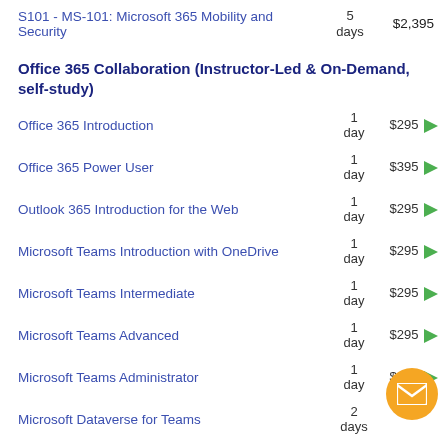S101 - MS-101: Microsoft 365 Mobility and Security
Office 365 Collaboration (Instructor-Led & On-Demand, self-study)
Office 365 Introduction
Office 365 Power User
Outlook 365 Introduction for the Web
Microsoft Teams Introduction with OneDrive
Microsoft Teams Intermediate
Microsoft Teams Advanced
Microsoft Teams Administrator
Microsoft Dataverse for Teams
Microsoft Forms with Power Automate